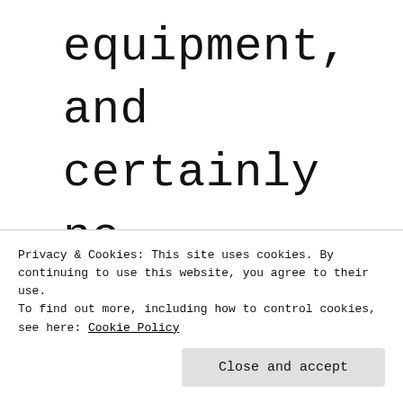equipment,      and certainly      no Republicans    in Congress      voted to      authorized
Privacy & Cookies: This site uses cookies. By continuing to use this website, you agree to their use.
To find out more, including how to control cookies, see here: Cookie Policy
Close and accept